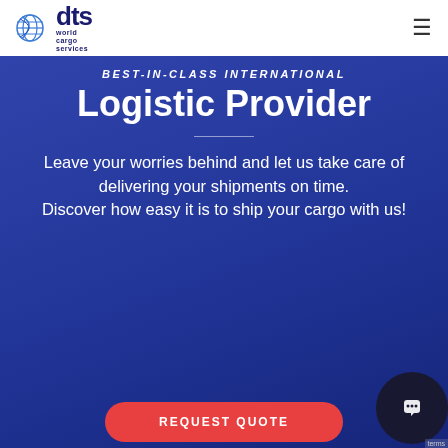[Figure (logo): DTS World Cargo Services logo with globe icon on left and 'dts world cargo services' text on right]
Best-in-class International Logistic Provider
Leave your worries behind and let us take care of delivering your shipments on time. Discover how easy it is to ship your cargo with us!
[Figure (other): Red rounded button with text REQUEST QUOTE]